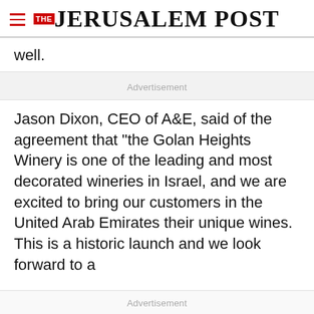THE JERUSALEM POST
well.
Advertisement
Jason Dixon, CEO of A&E, said of the agreement that "the Golan Heights Winery is one of the leading and most decorated wineries in Israel, and we are excited to bring our customers in the United Arab Emirates their unique wines. This is a historic launch and we look forward to a
Advertisement